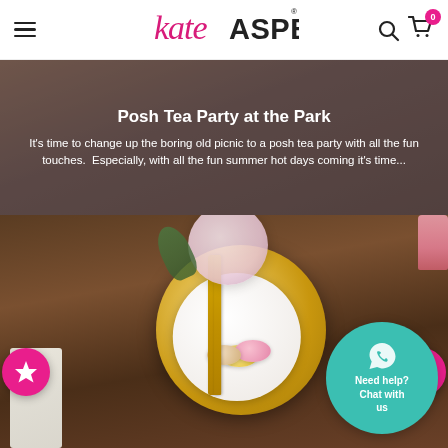[Figure (logo): Kate Aspen logo in pink script and sans-serif text]
[Figure (photo): Tea party / picnic scene banner with blurred background and text overlay: Posh Tea Party at the Park]
Posh Tea Party at the Park
It's time to change up the boring old picnic to a posh tea party with all the fun touches.  Especially, with all the fun summer hot days coming it's time...
[Figure (photo): Elegant table setting with gold charger plate, white plate with bunny design, pink and yellow macarons, gold cutlery, floral arrangement with roses and eucalyptus]
[Figure (infographic): Teal circular chat widget with WhatsApp icon and text: Need help? Chat with us]